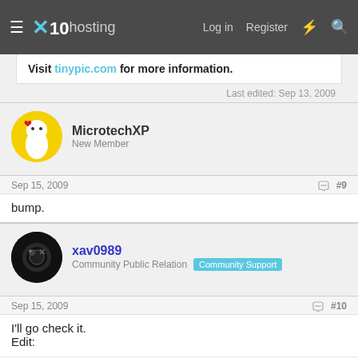x10hosting — Log in  Register
Visit tinypic.com for more information.
Last edited: Sep 13, 2009
MicrotechXP
New Member
Sep 15, 2009  #9
bump.
xav0989
Community Public Relation  Community Support
Sep 15, 2009  #10
I'll go check it.
Edit: